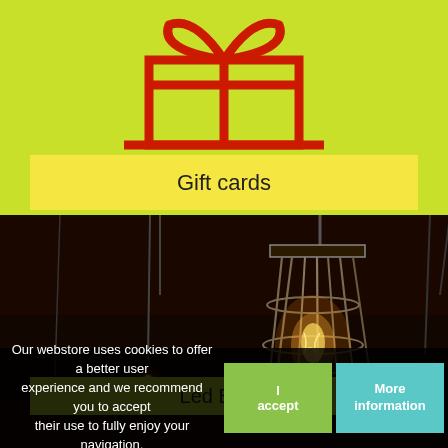[Figure (illustration): Gift box icon in red outline on a bright yellow-green (lime) background. The gift box has a ribbon and bow on top, and a horizontal platform/base line below.]
Gift cards
[Figure (photo): Dark photograph of vintage Edison-style filament light bulbs in cage/lantern fixtures glowing warm orange against a very dark background. Multiple bulbs visible.]
Led Bulbs
Our webstore uses cookies to offer a better user experience and we recommend you to accept their use to fully enjoy your navigation.